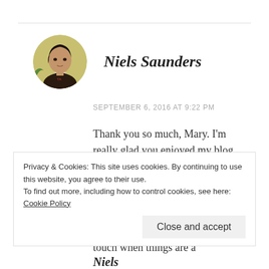[Figure (photo): Circular avatar photo of a young man with dark hair, wearing a dark jacket, with a light background]
Niels Saunders
SEPTEMBER 6, 2016 AT 9:22 PM
Thank you so much, Mary. I'm really glad you enjoyed my blog. You've made my day!
I'd be delighted to guest spot on your blog sometime. Thank you for inviting me. I'll definitely be in touch when things are a
Privacy & Cookies: This site uses cookies. By continuing to use this website, you agree to their use.
To find out more, including how to control cookies, see here: Cookie Policy
Close and accept
Niels